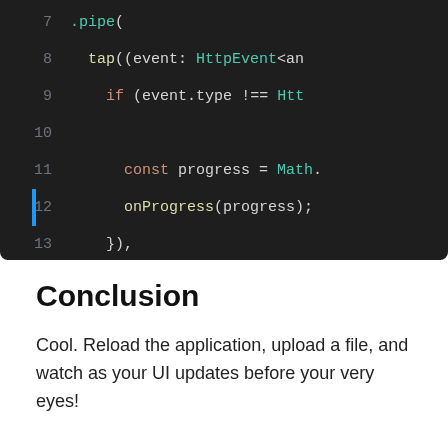[Figure (screenshot): Code editor screenshot showing lines 7-16 of TypeScript/JavaScript code with syntax highlighting on dark background. Line 12 has a blue left-border indicator. Code shows .pipe(), tap(), HttpEvent, if, const progress = Math., onProgress(progress);, }), ), .toPromise();, }]
Conclusion
Cool. Reload the application, upload a file, and watch as your UI updates before your very eyes!